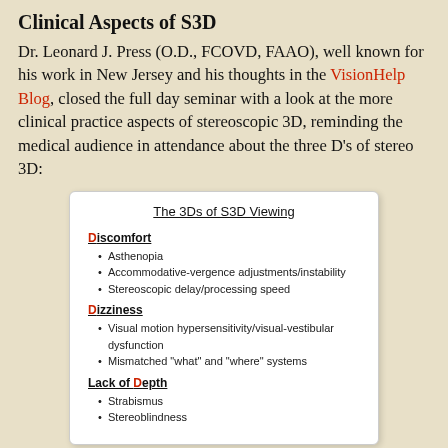Clinical Aspects of S3D
Dr. Leonard J. Press (O.D., FCOVD, FAAO), well known for his work in New Jersey and his thoughts in the VisionHelp Blog, closed the full day seminar with a look at the more clinical practice aspects of stereoscopic 3D, reminding the medical audience in attendance about the three D's of stereo 3D:
[Figure (infographic): A slide titled 'The 3Ds of S3D Viewing' listing three categories: Discomfort (with bullet points: Asthenopia, Accommodative-vergence adjustments/instability, Stereoscopic delay/processing speed), Dizziness (with bullet points: Visual motion hypersensitivity/visual-vestibular dysfunction, Mismatched 'what' and 'where' systems), Lack of Depth (with bullet points: Strabismus, Stereoblindness)]